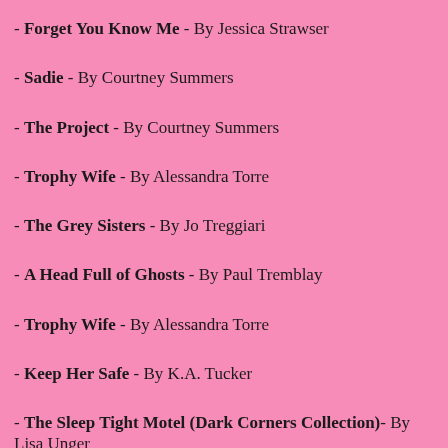- Forget You Know Me - By Jessica Strawser
- Sadie - By Courtney Summers
- The Project - By Courtney Summers
- Trophy Wife - By Alessandra Torre
- The Grey Sisters - By Jo Treggiari
- A Head Full of Ghosts - By Paul Tremblay
- Trophy Wife - By Alessandra Torre
- Keep Her Safe - By K.A. Tucker
- The Sleep Tight Motel (Dark Corners Collection)- By Lisa Unger